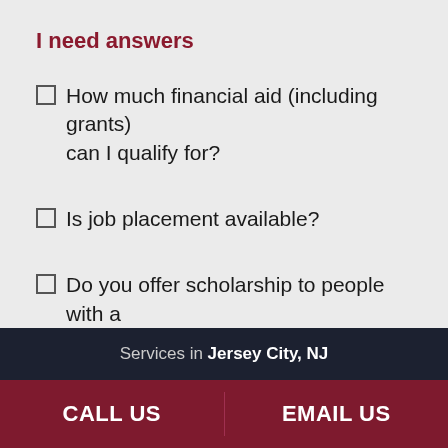I need answers
How much financial aid (including grants) can I qualify for?
Is job placement available?
Do you offer scholarship to people with a
Services in Jersey City, NJ
CALL US
EMAIL US